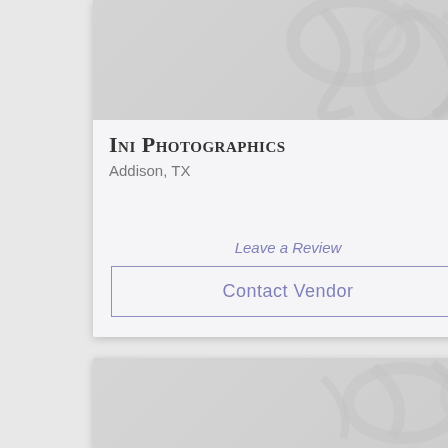[Figure (illustration): Decorative watermark image with light gray abstract floral/swirl pattern on gray background, top portion of a vendor listing card]
Ini Photographics
Addison, TX
Leave a Review
Contact Vendor
[Figure (illustration): Decorative watermark image with light gray abstract floral/swirl pattern on gray background, top portion of a second vendor listing card (partially visible)]